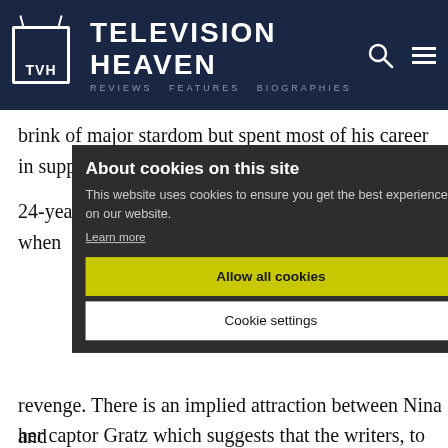TELEVISION HEAVEN
brink of major stardom but spent most of his career in supporting roles.
24-year-old Cyd Hayman was a relative newcomer when she ... later ... her captor Gratz which suggests that the writers, to some
About cookies on this site
This website uses cookies to ensure you get the best experience on our website.
Learn more
Allow all cookies
Cookie settings